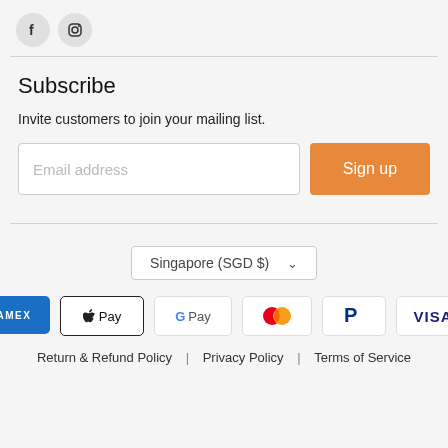[Figure (illustration): Two social media icons: Facebook (f) and Instagram (camera) as grey circles]
Subscribe
Invite customers to join your mailing list.
[Figure (screenshot): Email address input field with placeholder text 'Email address' and an orange 'Sign up' button]
[Figure (screenshot): Country/currency selector dropdown showing 'Singapore (SGD $)']
[Figure (illustration): Payment method icons: American Express, Apple Pay, Google Pay, Mastercard, PayPal, Visa]
Return & Refund Policy | Privacy Policy | Terms of Service